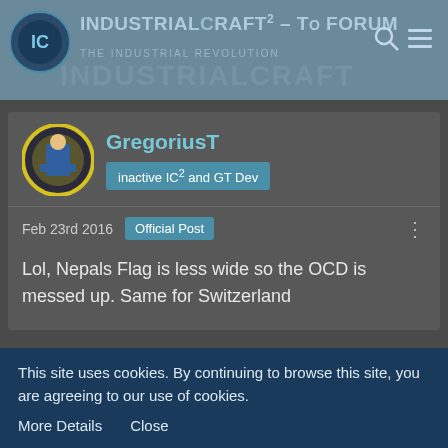IndustrialCraft² - The Forum — The Industrial Revolution
GregoriusT
inactive IC² and GT Dev
Feb 23rd 2016  Official Post
Lol, Nepals Flag is less wide so the OCD is messed up. Same for Switzerland
Aroma1997
IC² Developer
This site uses cookies. By continuing to browse this site, you are agreeing to our use of cookies.
More Details   Close